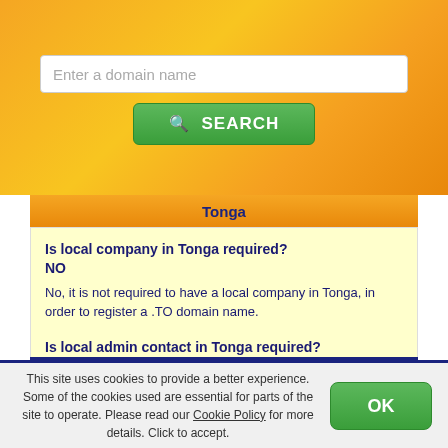[Figure (screenshot): Domain name search bar with placeholder text 'Enter a domain name' on an orange/yellow gradient background, with a green SEARCH button below it]
Tonga
Is local company in Tonga required?
NO
No, it is not required to have a local company in Tonga, in order to register a .TO domain name.
Is local admin contact in Tonga required?
NO
No, a local administrative contact in Tonga is not required in order to register .TO domain names.
Are trademarks usable in Tonga?
NO
This site uses cookies to provide a better experience. Some of the cookies used are essential for parts of the site to operate. Please read our Cookie Policy for more details. Click to accept.